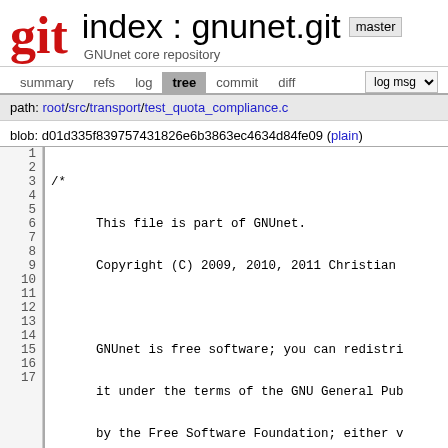Git index : gnunet.git  master  GNUnet core repository
summary  refs  log  tree  commit  diff  log msg
path: root/src/transport/test_quota_compliance.c
blob: d01d335f839757431826e6b3863ec4634d84fe09 (plain)
1  /*
2       This file is part of GNUnet.
3       Copyright (C) 2009, 2010, 2011 Christian
4
5       GNUnet is free software; you can redistri
6       it under the terms of the GNU General Pub
7       by the Free Software Foundation; either v
8       option) any later version.
9
10      GNUnet is distributed in the hope that it
11      WITHOUT ANY WARRANTY; without even the im
12      MERCHANTABILITY or FITNESS FOR A PARTICUL
13      General Public License for more details.
14
15      You should have received a copy of the GN
16      along with GNUnet; see the file COPYING.
17      Free Software Foundation, Inc., 51 Frankl